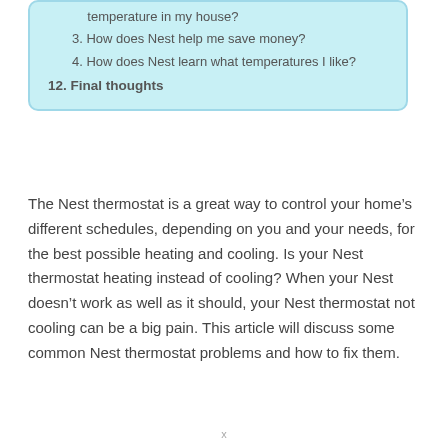temperature in my house?
3. How does Nest help me save money?
4. How does Nest learn what temperatures I like?
12. Final thoughts
The Nest thermostat is a great way to control your home’s different schedules, depending on you and your needs, for the best possible heating and cooling. Is your Nest thermostat heating instead of cooling? When your Nest doesn’t work as well as it should, your Nest thermostat not cooling can be a big pain. This article will discuss some common Nest thermostat problems and how to fix them.